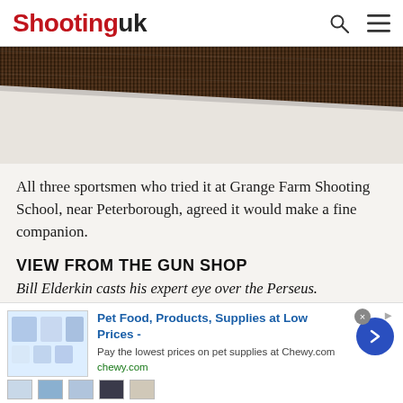Shooting uk
[Figure (photo): Close-up photo of a gun stock/barrel with dark brown textured wood grain, diagonal composition on light grey/white background]
All three sportsmen who tried it at Grange Farm Shooting School, near Peterborough, agreed it would make a fine companion.
VIEW FROM THE GUN SHOP
Bill Elderkin casts his expert eye over the Perseus.
You should be armed by...with reliability. De Div visi...
[Figure (screenshot): Advertisement banner for Chewy.com: Pet Food, Products, Supplies at Low Prices - Pay the lowest prices on pet supplies at Chewy.com. chewy.com. Contains product images and blue arrow button.]